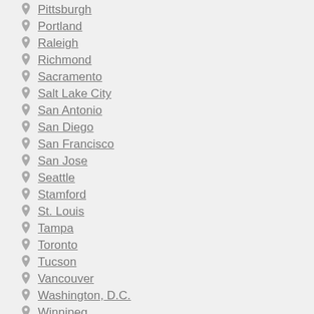Pittsburgh
Portland
Raleigh
Richmond
Sacramento
Salt Lake City
San Antonio
San Diego
San Francisco
San Jose
Seattle
Stamford
St. Louis
Tampa
Toronto
Tucson
Vancouver
Washington, D.C.
Winnipeg